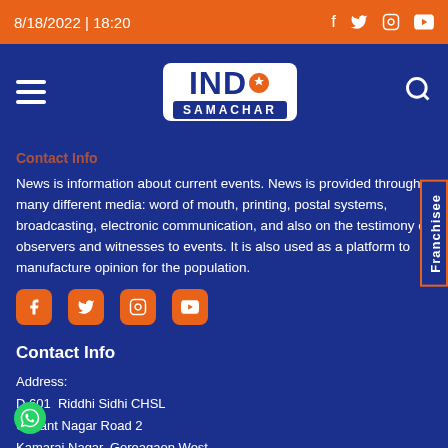8/18/2022 | 18:20
[Figure (logo): IND Samachar logo with orange and blue branding, hamburger menu and search icon]
News is information about current events. News is provided through many different media: word of mouth, printing, postal systems, broadcasting, electronic communication, and also on the testimony of observers and witnesses to events. It is also used as a platform to manufacture opinion for the population.
[Figure (infographic): Social media icons row: Facebook, Twitter, Instagram, YouTube in orange rounded boxes]
Contact Info
Address:
D 601  Riddhi Sidhi CHSL
Unnant Nagar Road 2
Kamaraj Nagar, Goreagaon West
Mumbai 4000...